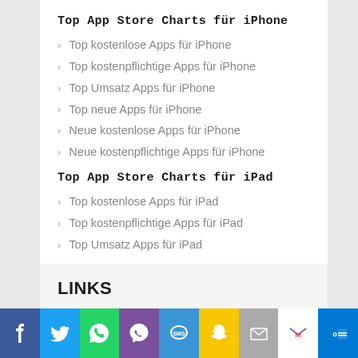Top App Store Charts für iPhone
Top kostenlose Apps für iPhone
Top kostenpflichtige Apps für iPhone
Top Umsatz Apps für iPhone
Top neue Apps für iPhone
Neue kostenlose Apps für iPhone
Neue kostenpflichtige Apps für iPhone
Top App Store Charts für iPad
Top kostenlose Apps für iPad
Top kostenpflichtige Apps für iPad
Top Umsatz Apps für iPad
LINKS
mission-mobile
Vergleiche Prepaid Tarife und finde den